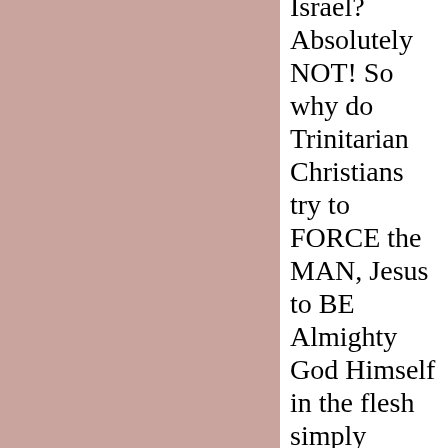[Figure (other): Left portion of the page filled with a rose/mauve pink solid color background.]
Israel? Absolutely NOT! So why do Trinitarian Christians try to FORCE the MAN, Jesus to BE Almighty God Himself in the flesh simply